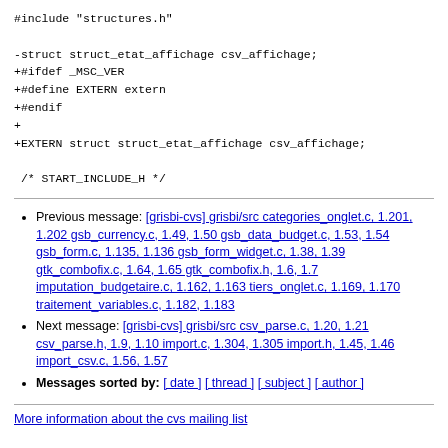#include "structures.h"

-struct struct_etat_affichage csv_affichage;
+#ifdef _MSC_VER
+#define EXTERN extern
+#endif
+
+EXTERN struct struct_etat_affichage csv_affichage;

 /* START_INCLUDE_H */
Previous message: [grisbi-cvs] grisbi/src categories_onglet.c, 1.201, 1.202 gsb_currency.c, 1.49, 1.50 gsb_data_budget.c, 1.53, 1.54 gsb_form.c, 1.135, 1.136 gsb_form_widget.c, 1.38, 1.39 gtk_combofix.c, 1.64, 1.65 gtk_combofix.h, 1.6, 1.7 imputation_budgetaire.c, 1.162, 1.163 tiers_onglet.c, 1.169, 1.170 traitement_variables.c, 1.182, 1.183
Next message: [grisbi-cvs] grisbi/src csv_parse.c, 1.20, 1.21 csv_parse.h, 1.9, 1.10 import.c, 1.304, 1.305 import.h, 1.45, 1.46 import_csv.c, 1.56, 1.57
Messages sorted by: [ date ] [ thread ] [ subject ] [ author ]
More information about the cvs mailing list